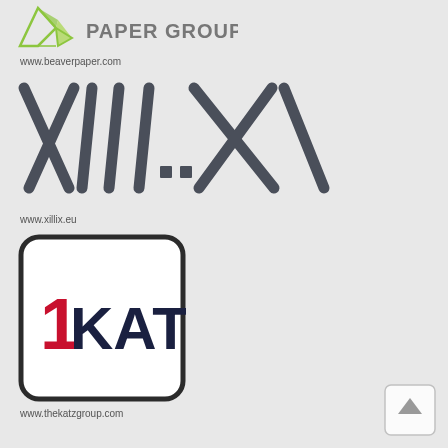[Figure (logo): Beaver Paper Group logo — green geometric folded paper shape icon on left, 'PAPER GROUP' text in bold gray caps on right]
www.beaverpaper.com
[Figure (logo): Xillix logo — large stylized dark gray angular slash/X letterform design spelling 'xillix']
www.xillix.eu
[Figure (logo): 1Katz logo — white rounded square box with thick dark border, red '1' on left and 'KATZ' in dark navy bold caps]
www.thekatzgroup.com